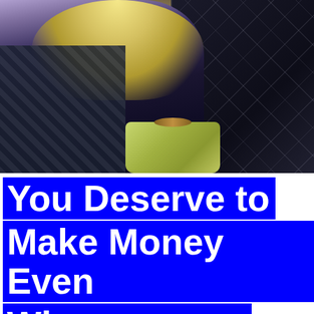[Figure (photo): A woman with long blonde hair sitting in a car, wearing a dark patterned jacket and a purple/brown bralette top, holding a lime green handbag. The car interior has black leather quilted diamond-stitched seats.]
You Deserve to Make Money Even When you are